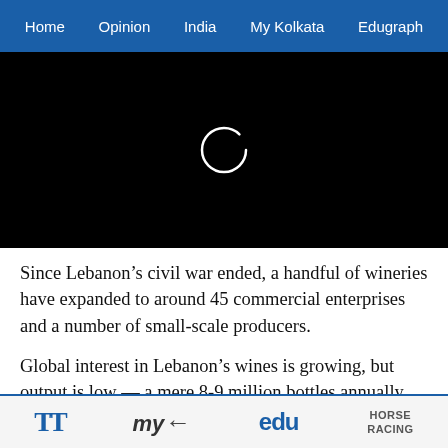Home   Opinion   India   My Kolkata   Edugraph
[Figure (screenshot): Black video player area with a loading spinner (white circle outline) in the center]
Since Lebanon’s civil war ended, a handful of wineries have expanded to around 45 commercial enterprises and a number of small-scale producers.
Global interest in Lebanon’s wines is growing, but output is low — a mere 8-9 million bottles annually compared to 5-6 billion bottles from the world’s largest producer Italy — and production costs are high.
TT   my   edu   HORSE RACING